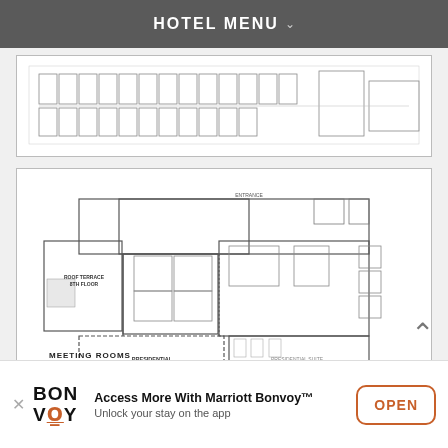HOTEL MENU
[Figure (schematic): Hotel floor plan - upper floor layout showing room arrangements]
[Figure (schematic): Meeting Rooms floor plan showing Roof Terrace 8th Floor, Presidential Suite Terrace, Presidential Suite Living Room, and Entrance areas]
Access More With Marriott Bonvoy™ Unlock your stay on the app